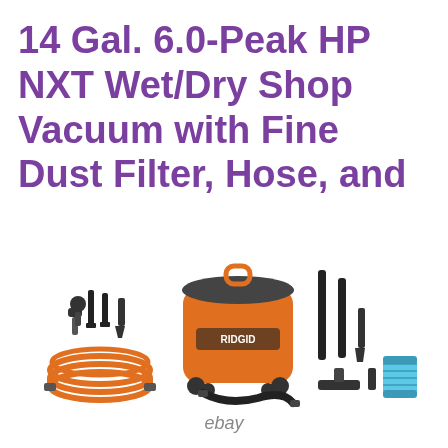14 Gal. 6.0-Peak HP NXT Wet/Dry Shop Vacuum with Fine Dust Filter, Hose, and
[Figure (photo): RIDGID 14 Gal. 6.0-Peak HP NXT Wet/Dry Shop Vacuum shown with accessories including orange hose, black hose, attachments (crevice tool, brushes, nozzles), and a blue fine dust filter canister, displayed on a white background. eBay watermark below.]